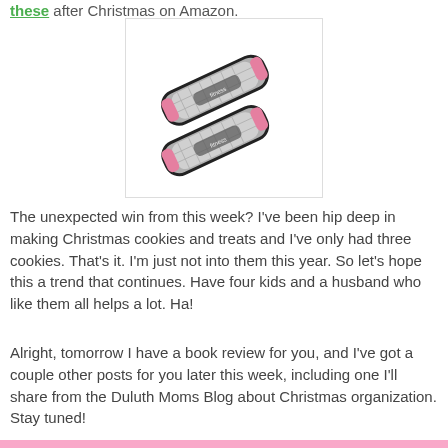these after Christmas on Amazon.
[Figure (photo): Two pink and gray fitness/dumbbell hand weights or grip weights shown at an angle on a white background.]
The unexpected win from this week? I've been hip deep in making Christmas cookies and treats and I've only had three cookies. That's it. I'm just not into them this year. So let's hope this a trend that continues. Have four kids and a husband who like them all helps a lot. Ha!
Alright, tomorrow I have a book review for you, and I've got a couple other posts for you later this week, including one I'll share from the Duluth Moms Blog about Christmas organization. Stay tuned!